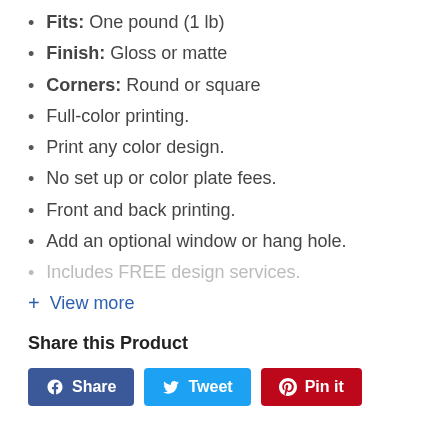Fits: One pound (1 lb)
Finish: Gloss or matte
Corners: Round or square
Full-color printing.
Print any color design.
No set up or color plate fees.
Front and back printing.
Add an optional window or hang hole.
Includes FREE design services.
+ View more
Share this Product
Share  Tweet  Pin it